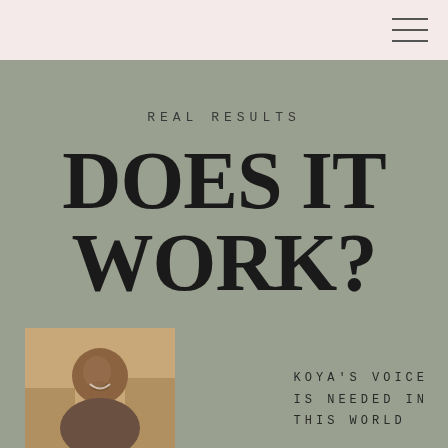REAL RESULTS
DOES IT WORK?
[Figure (photo): Portrait photo of a smiling man, likely a politician, in front of American flags]
KOYA'S VOICE IS NEEDED IN THIS WORLD